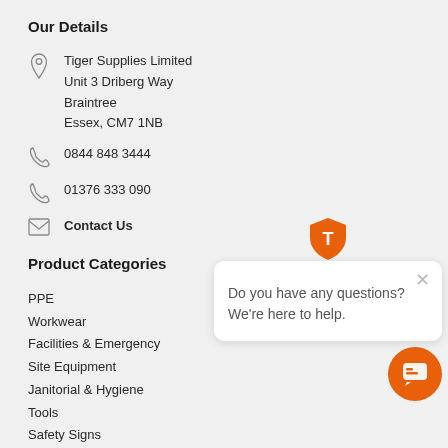Our Details
Tiger Supplies Limited
Unit 3 Driberg Way
Braintree
Essex, CM7 1NB
0844 848 3444
01376 333 090
Contact Us
Product Categories
PPE
Workwear
Facilities & Emergency
Site Equipment
Janitorial & Hygiene
Tools
Safety Signs
Eco
Clearance
[Figure (screenshot): Chat widget popup with Tiger Supplies shield logo, close button, and text 'Do you have any questions? We're here to help.']